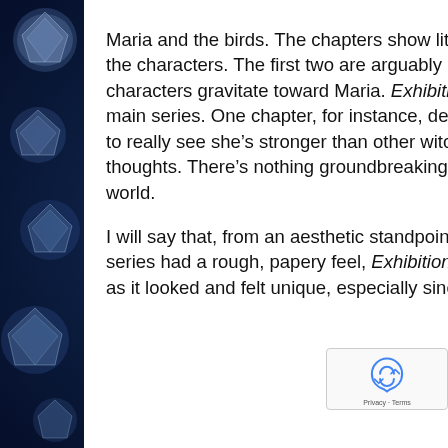Maria and the birds. The chapters show little fighting. Instead, the manga adds more information on the characters. The first two are arguably more important, as we get to see why a couple of characters gravitate toward Maria. Exhibition also answers a couple of other questions I had about the main series. One chapter, for instance, demonstrates that Maria's bragging isn't without merit; we get to really see she's stronger than other witches. In another, we get a bit of a glimpse into Michael's thoughts. There's nothing groundbreaking in these stories, but it is nice to learn more about Maria's world.
I will say that, from an aesthetic standpoint, Exhibition looks disappointing. While the main series had a rough, papery feel, Exhibition's cover is glossy. I liked the original series better as it looked and felt unique, especially since the